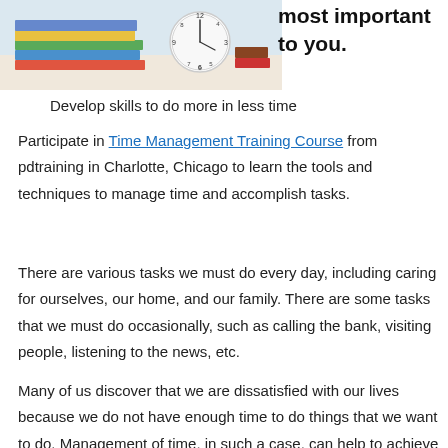[Figure (photo): Photo of stacked books and a clock on a white surface]
most important to you.
Develop skills to do more in less time
Participate in Time Management Training Course from pdtraining in Charlotte, Chicago to learn the tools and techniques to manage time and accomplish tasks.
There are various tasks we must do every day, including caring for ourselves, our home, and our family. There are some tasks that we must do occasionally, such as calling the bank, visiting people, listening to the news, etc.
Many of us discover that we are dissatisfied with our lives because we do not have enough time to do things that we want to do. Management of time, in such a case, can help to achieve the larger goals in life, the ones that are the most important to you.